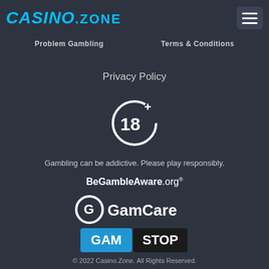[Figure (logo): CasinoZone logo with cyan/blue italic text 'CASINO' and white 'ZONE' text, plus hamburger menu icon in top right]
Problem Gambling     Terms & Conditions
Privacy Policy
[Figure (illustration): 18+ age restriction circular icon in white]
Gambling can be addictive. Please play responsibly.
[Figure (logo): BeGambleAware.org logo in white text]
[Figure (logo): GamCare logo with G icon and GamCare text in white]
[Figure (logo): GamStop logo with GAM in blue box and STOP in black box on white background]
© 2022 Casino.Zone. All Rights Reserved.